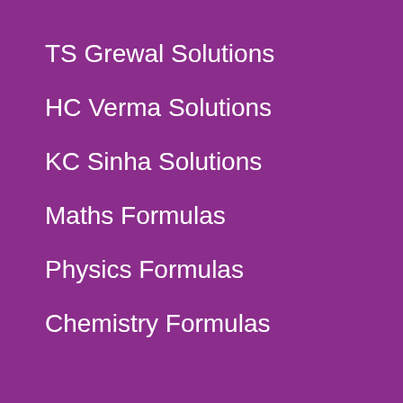TS Grewal Solutions
HC Verma Solutions
KC Sinha Solutions
Maths Formulas
Physics Formulas
Chemistry Formulas